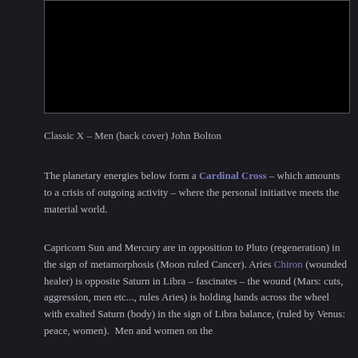[Figure (photo): Black image area representing the back cover artwork of Classic X-Men by John Bolton]
Classic X – Men (back cover) John Bolton
The planetary energies below form a Cardinal Cross – which amounts to a crisis of outgoing activity – where the personal initiative meets the material world.
Capricorn Sun and Mercury are in opposition to Pluto (regeneration) in the sign of metamorphosis (Moon ruled Cancer). Aries Chiron (wounded healer) is opposite Saturn in Libra – fascinates – the wound (Mars: cuts, aggression, men etc..., rules Aries) is holding hands across the wheel with exalted Saturn (body) in the sign of Libra balance, (ruled by Venus: peace, women). Men and women on the